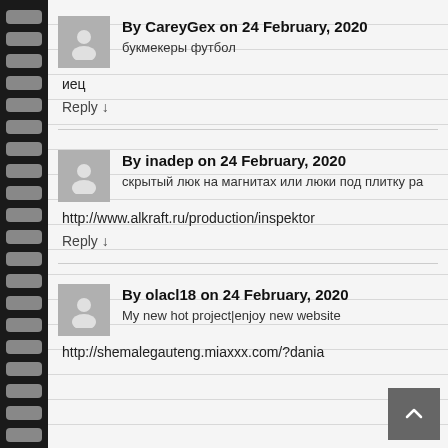By CareyGex on 24 February, 2020
букмекеры футбол
иец
Reply ↓
By inadep on 24 February, 2020
скрытый люк на магнитах или люки под плитку ра
http://www.alkraft.ru/production/inspektor
Reply ↓
By olacl18 on 24 February, 2020
My new hot project|enjoy new website
http://shemalegauteng.miaxxx.com/?dania